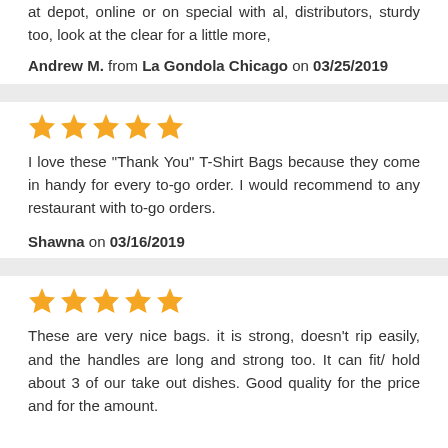at depot, online or on special with al, distributors, sturdy too, look at the clear for a little more,
Andrew M. from La Gondola Chicago on 03/25/2019
[Figure (other): 5 gold stars rating]
I love these "Thank You" T-Shirt Bags because they come in handy for every to-go order. I would recommend to any restaurant with to-go orders.
Shawna on 03/16/2019
[Figure (other): 5 gold stars rating]
These are very nice bags. it is strong, doesn't rip easily, and the handles are long and strong too. It can fit/ hold about 3 of our take out dishes. Good quality for the price and for the amount.